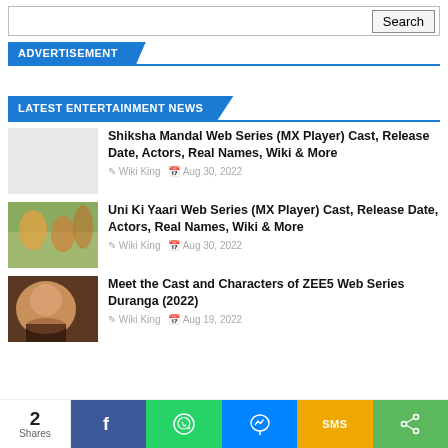Search
ADVERTISEMENT
LATEST ENTERTAINMENT NEWS
Shiksha Mandal Web Series (MX Player) Cast, Release Date, Actors, Real Names, Wiki & More | Wiki King | Aug 30, 2022
Uni Ki Yaari Web Series (MX Player) Cast, Release Date, Actors, Real Names, Wiki & More | Wiki King | Aug 30, 2022
Meet the Cast and Characters of ZEE5 Web Series Duranga (2022) | Wiki King | Aug 19, 2022
2 Shares